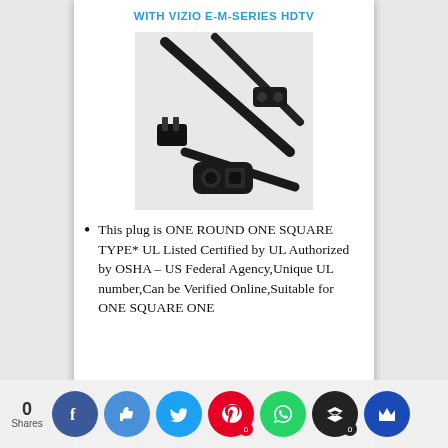WITH VIZIO E-M-SERIES HDTV
[Figure (photo): Power cord/cable with one round and one square plug end, shown from multiple angles including close-up of the two-prong connector and figure-8 connector]
This plug is ONE ROUND ONE SQUARE TYPE* UL Listed Certified by UL Authorized by OSHA – US Federal Agency,Unique UL number,Can be Verified Online,Suitable for ONE SQUARE ONE [continues]
0 Shares [social share bar with Facebook, Like, Twitter, Pinterest, WhatsApp, Buffer, Crown icons]